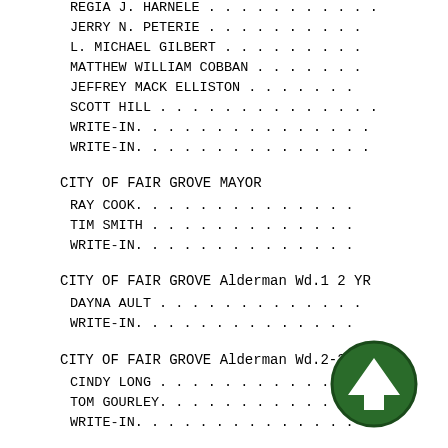REGIA J. HARNELE . . . . . . . . . .
JERRY N. PETERIE . . . . . . . . . .
L. MICHAEL GILBERT . . . . . . . . .
MATTHEW WILLIAM COBBAN . . . . . . .
JEFFREY MACK ELLISTON . . . . . . .
SCOTT HILL . . . . . . . . . . . .
WRITE-IN. . . . . . . . . . . . . .
WRITE-IN. . . . . . . . . . . . . .
CITY OF FAIR GROVE MAYOR
RAY COOK. . . . . . . . . . . . . .
TIM SMITH . . . . . . . . . . . . .
WRITE-IN. . . . . . . . . . . . . .
CITY OF FAIR GROVE Alderman Wd.1 2 YR
DAYNA AULT . . . . . . . . . . . .
WRITE-IN. . . . . . . . . . . . . .
CITY OF FAIR GROVE Alderman Wd.2-2 YR
CINDY LONG . . . . . . . . . . . .
TOM GOURLEY. . . . . . . . . . . .
WRITE-IN. . . . . . . . . . . . . .